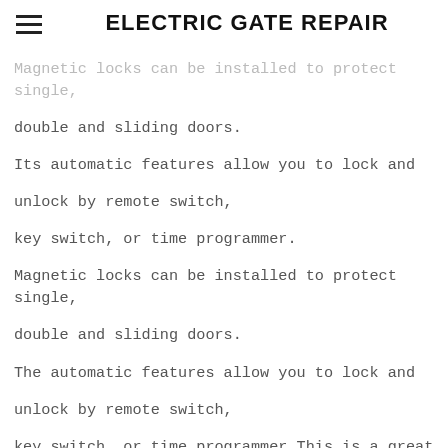ELECTRIC GATE REPAIR
Magnetic locks can be installed to protect single, double and sliding doors.
Its automatic features allow you to lock and unlock by remote switch,
key switch, or time programmer.
Magnetic locks can be installed to protect single, double and sliding doors.
The automatic features allow you to lock and unlock by remote switch,
key switch, or time programmer.This is a great wireless access control solution for retail stores, banks, airports, casinos and government offices.
At Electric Gate Repair AAAAAA, we can ensure you get the highest quality product for your establishment.
Call today to get a free estimate for an install, maintenance or repair.